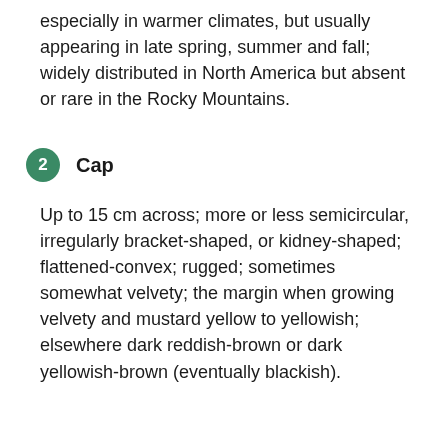especially in warmer climates, but usually appearing in late spring, summer and fall; widely distributed in North America but absent or rare in the Rocky Mountains.
2 Cap
Up to 15 cm across; more or less semicircular, irregularly bracket-shaped, or kidney-shaped; flattened-convex; rugged; sometimes somewhat velvety; the margin when growing velvety and mustard yellow to yellowish; elsewhere dark reddish-brown or dark yellowish-brown (eventually blackish).